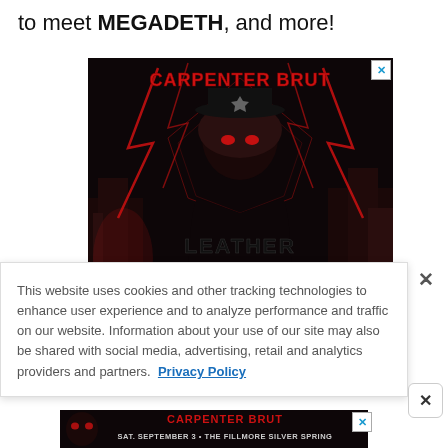to meet MEGADETH, and more!
[Figure (illustration): Carpenter Brut Leather Terror album/show promotional advertisement. Dark background with neon red lightning bolts and cityscape silhouette. Masked police-hat figure with glowing red eyes in center. Text reads CARPENTER BRUT in red metallic letters at top, and LEATHER Terror in stylized font below.]
This website uses cookies and other tracking technologies to enhance user experience and to analyze performance and traffic on our website. Information about your use of our site may also be shared with social media, advertising, retail and analytics providers and partners. Privacy Policy
[Figure (illustration): Carpenter Brut bottom banner ad. Dark background with skull figure in hat. Text reads CARPENTER BRUT in red, SAT. SEPTEMBER 3 • THE FILLMORE SILVER SPRING in white below.]